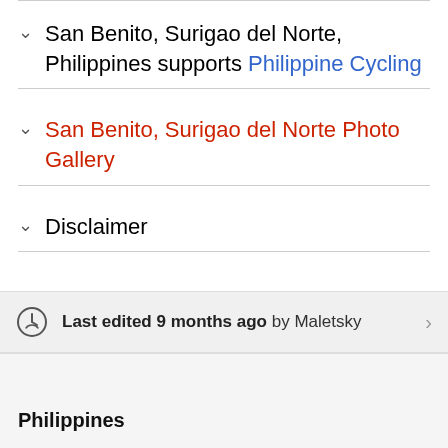San Benito, Surigao del Norte, Philippines supports Philippine Cycling
San Benito, Surigao del Norte Photo Gallery
Disclaimer
Last edited 9 months ago by Maletsky
Philippines